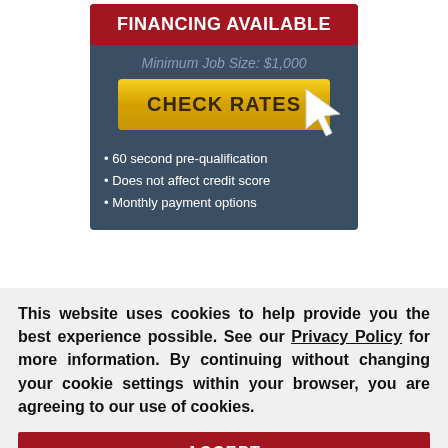FINANCING AVAILABLE
Minimum Job Size: $1,000
[Figure (screenshot): Yellow CHECK RATES button with white cursor arrow pointing at it]
60 second pre-qualification
Does not affect credit score
Monthly payment options
[Figure (screenshot): Partial dark blue bar and red Request a Free popup with close X button]
This website uses cookies to help provide you the best experience possible. See our Privacy Policy for more information. By continuing without changing your cookie settings within your browser, you are agreeing to our use of cookies.
ACCEPT